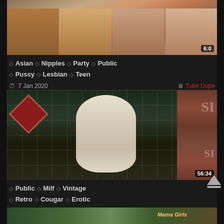[Figure (screenshot): Video thumbnail showing group of women, duration badge 6:0]
◇ Asian  ◇ Nipples  ◇ Party  ◇ Public  ◇ Pussy  ◇ Lesbian  ◇ Teen
🕐 7 Jan 2020    🖥 Tube Dupe
[Figure (screenshot): Video thumbnail showing woman dancing on stage, duration badge 56:34]
◇ Public  ◇ Milf  ◇ Vintage  ◇ Retro  ◇ Cougar  ◇ Erotic
🕐 20 Aug 2020    🖥 Bravo Tube
[Figure (screenshot): Partial video thumbnail at bottom of page]